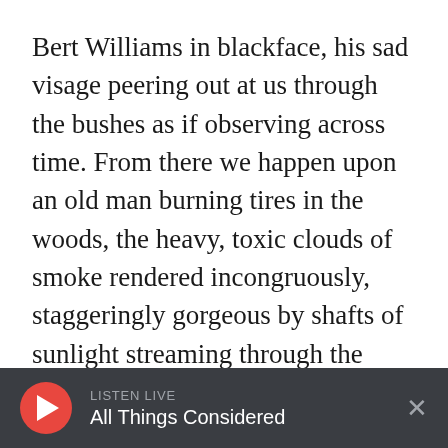Bert Williams in blackface, his sad visage peering out at us through the bushes as if observing across time. From there we happen upon an old man burning tires in the woods, the heavy, toxic clouds of smoke rendered incongruously, staggeringly gorgeous by shafts of sunlight streaming through the trees.
The film never overtly editorializes about these images, leaving its sights and sounds for us to turn over in our minds long after the lights come up. We watch the traffic stops by white police officers come as regular as the rainfall, and even
LISTEN LIVE All Things Considered